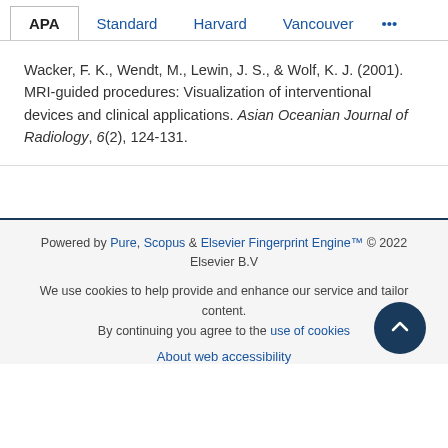APA | Standard | Harvard | Vancouver | ...
Wacker, F. K., Wendt, M., Lewin, J. S., & Wolf, K. J. (2001). MRI-guided procedures: Visualization of interventional devices and clinical applications. Asian Oceanian Journal of Radiology, 6(2), 124-131.
Powered by Pure, Scopus & Elsevier Fingerprint Engine™ © 2022 Elsevier B.V
We use cookies to help provide and enhance our service and tailor content. By continuing you agree to the use of cookies
About web accessibility